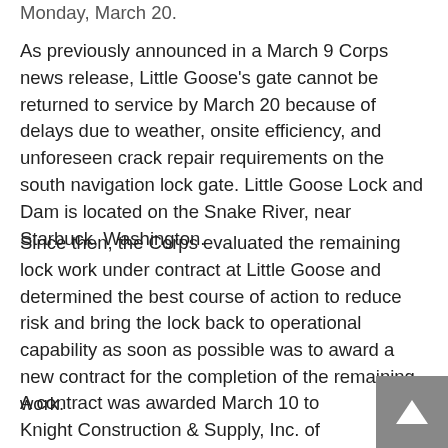Monday, March 20.
As previously announced in a March 9 Corps news release, Little Goose's gate cannot be returned to service by March 20 because of delays due to weather, onsite efficiency, and unforeseen crack repair requirements on the south navigation lock gate. Little Goose Lock and Dam is located on the Snake River, near Starbuck, Washington.
Since then, the Corps evaluated the remaining lock work under contract at Little Goose and determined the best course of action to reduce risk and bring the lock back to operational capability as soon as possible was to award a new contract for the completion of the remaining work.
A contract was awarded March 10 to Knight Construction & Supply, Inc. of Deer Park,